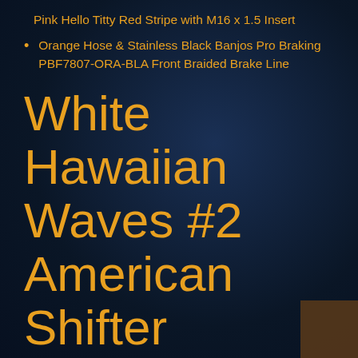Pink Hello Titty Red Stripe with M16 x 1.5 Insert
Orange Hose & Stainless Black Banjos Pro Braking PBF7807-ORA-BLA Front Braided Brake Line
White Hawaiian Waves #2 American Shifter 249259 Blue Flame Metal Flake